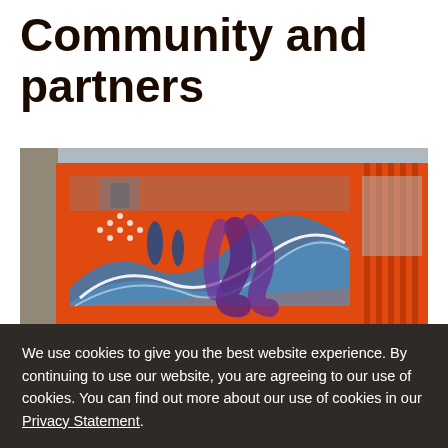Community and partners
[Figure (photo): Exterior view of a building facade with orange metal framing around large glass windows. The windows display a colorful mural featuring blue wave-like shapes and purple octopus tentacles on a red/orange background.]
The Faculty of Architecture enjoys an active
We use cookies to give you the best website experience. By continuing to use our website, you are agreeing to our use of cookies. You can find out more about our use of cookies in our Privacy Statement.